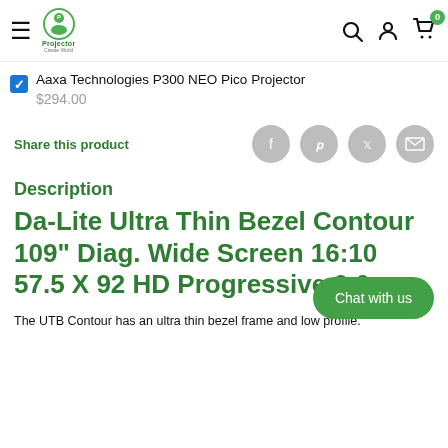Projector Create World — navigation bar with hamburger menu, logo, search, account, cart (0)
Aaxa Technologies P300 NEO Pico Projector
$294.00
Share this product
Description
Da-Lite Ultra Thin Bezel Contour 109" Diag. Wide Screen 16:10 57.5 X 92 HD Progressive 0.6
The UTB Contour has an ultra thin bezel frame and low profile.